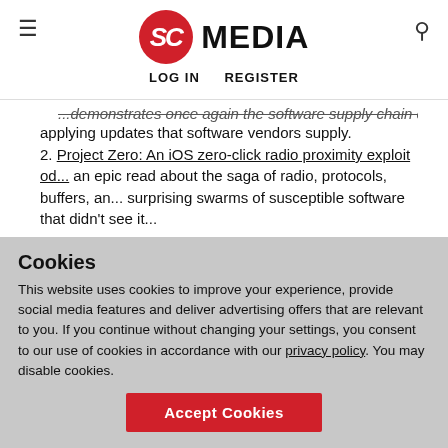SC MEDIA | LOG IN  REGISTER
...demonstrates once again the software supply chain chall... applying updates that software vendors supply.
2. Project Zero: An iOS zero-click radio proximity exploit od... an epic read about the saga of radio, protocols, buffers, an... surprising swarms of susceptible software that didn't see it...
3. OWASP Web Security Testing Guide – v4.2 - this version n... the answer to life, the universe, and everything you wante... know about web security testing!
4. Cross-site leaks wiki - describes a vuln that's truly cross-s...
Cookies
This website uses cookies to improve your experience, provide social media features and deliver advertising offers that are relevant to you. If you continue without changing your settings, you consent to our use of cookies in accordance with our privacy policy. You may disable cookies.